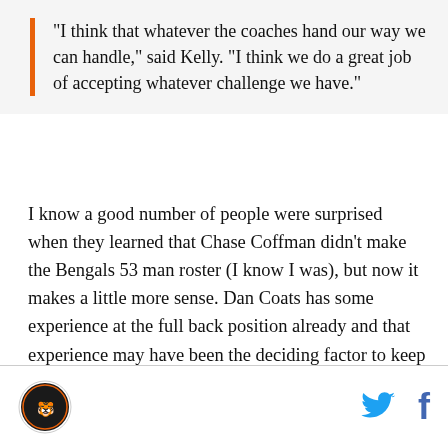"I think that whatever the coaches hand our way we can handle," said Kelly. "I think we do a great job of accepting whatever challenge we have."
I know a good number of people were surprised when they learned that Chase Coffman didn't make the Bengals 53 man roster (I know I was), but now it makes a little more sense. Dan Coats has some experience at the full back position already and that experience may have been the deciding factor to keep him over Coffman.